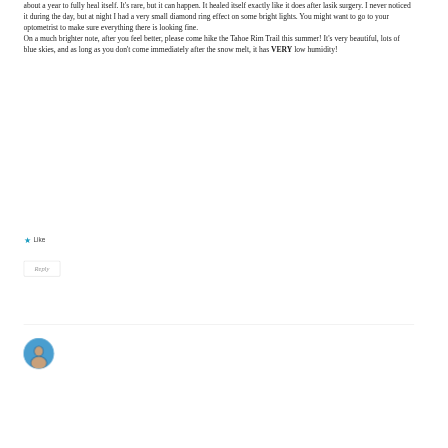about a year to fully heal itself. It's rare, but it can happen. It healed itself exactly like it does after lasik surgery. I never noticed it during the day, but at night I had a very small diamond ring effect on some bright lights. You might want to go to your optometrist to make sure everything there is looking fine.
On a much brighter note, after you feel better, please come hike the Tahoe Rim Trail this summer! It's very beautiful, lots of blue skies, and as long as you don't come immediately after the snow melt, it has VERY low humidity!
★ Like
Reply
[Figure (photo): Circular avatar photo showing a person, partially visible, with a blue background]